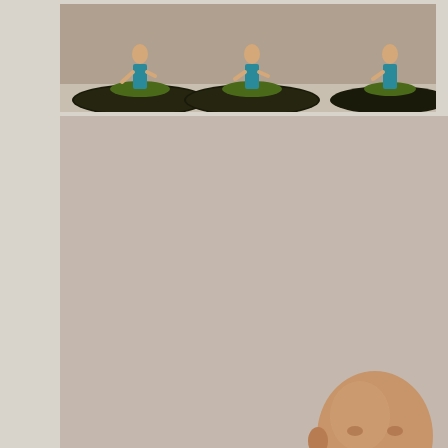[Figure (photo): Top row showing three painted miniature figures (martial artist in blue pants with tattoos) on dark circular bases with grass tufts, viewed from above/side on a beige background]
[Figure (photo): Large close-up photo of a painted miniature figure: bald martial artist with tattoos on chest/arms, wearing blue flowing pants with a white symbol, in a fighting stance on a large dark circular base with grass tufts]
[Figure (photo): Small photo top-right: rear/side view of the same bald martial artist miniature in a high kick or crane pose, blue pants, tattoos visible on back, dark base with grass]
[Figure (photo): Small photo middle-right: front/side view of the bald martial artist miniature in a fighting stance, blue pants, tattoos on chest, dark base with grass tufts]
[Figure (photo): Small photo bottom-right: three-quarter front view of the bald martial artist miniature with one leg forward, blue pants, tattoos visible, dark base with grass]